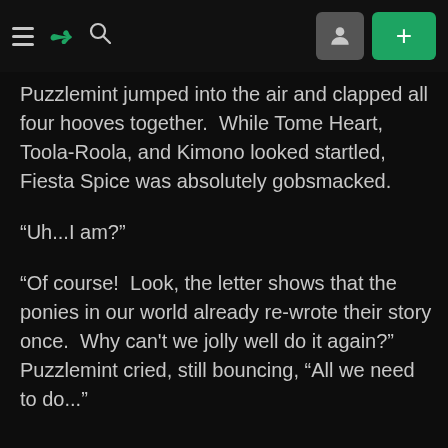[DeviantArt navigation bar with hamburger menu, DA logo, search icon, user icon button, and + button]
Puzzlemint jumped into the air and clapped all four hooves together. While Tome Heart, Toola-Roola, and Kimono looked startled, Fiesta Spice was absolutely gobsmacked.
“Uh...I am?”
“Of course! Look, the letter shows that the ponies in our world already re-wrote their story once. Why can't we jolly well do it again?” Puzzlemint cried, still bouncing, “All we need to do...”